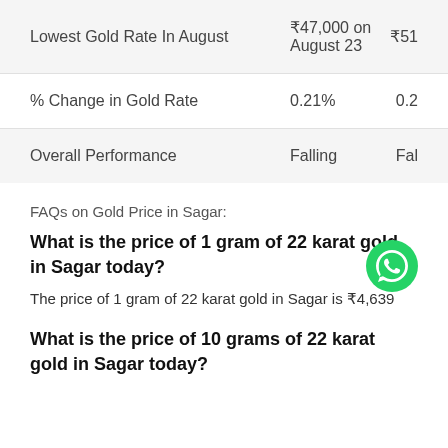|  | 22 Karat | 24 Karat |
| --- | --- | --- |
| Lowest Gold Rate In August | ₹47,000 on August 23 | ₹51… |
| % Change in Gold Rate | 0.21% | 0.2… |
| Overall Performance | Falling | Fal… |
FAQs on Gold Price in Sagar:
What is the price of 1 gram of 22 karat gold in Sagar today?
The price of 1 gram of 22 karat gold in Sagar is ₹4,639
What is the price of 10 grams of 22 karat gold in Sagar today?